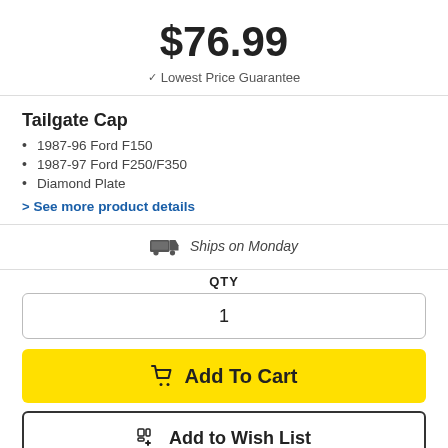$76.99
✓ Lowest Price Guarantee
Tailgate Cap
1987-96 Ford F150
1987-97 Ford F250/F350
Diamond Plate
> See more product details
Ships on Monday
QTY
1
Add To Cart
Add to Wish List